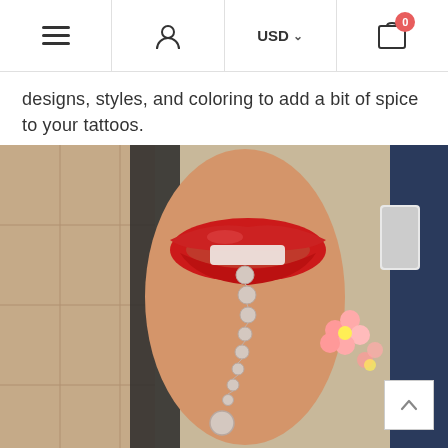Navigation bar with hamburger menu, user icon, USD currency selector, and cart with 0 items
designs, styles, and coloring to add a bit of spice to your tattoos.
[Figure (photo): A person's forearm showing a detailed tattoo of red lips biting a pearl necklace, with pink flower tattoos visible on the side. The photo shows the arm against a background with tile flooring and dark furniture.]